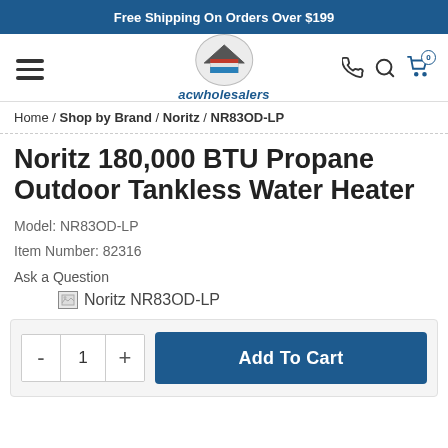Free Shipping On Orders Over $199
[Figure (logo): ACWholesalers logo with house icon and brand name 'acwholesalers']
Home / Shop by Brand / Noritz / NR83OD-LP
Noritz 180,000 BTU Propane Outdoor Tankless Water Heater
Model: NR83OD-LP
Item Number: 82316
Ask a Question
[Figure (photo): Broken image placeholder labeled 'Noritz NR83OD-LP']
- 1 +   Add To Cart